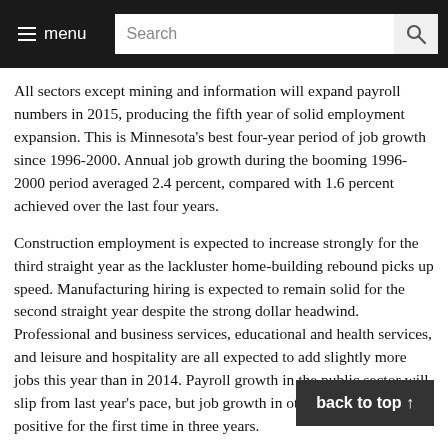≡ menu  Search
All sectors except mining and information will expand payroll numbers in 2015, producing the fifth year of solid employment expansion. This is Minnesota's best four-year period of job growth since 1996-2000. Annual job growth during the booming 1996-2000 period averaged 2.4 percent, compared with 1.6 percent achieved over the last four years.
Construction employment is expected to increase strongly for the third straight year as the lackluster home-building rebound picks up speed. Manufacturing hiring is expected to remain solid for the second straight year despite the strong dollar headwind. Professional and business services, educational and health services, and leisure and hospitality are all expected to add slightly more jobs this year than in 2014. Payroll growth in the public sector will slip from last year's pace, but job growth in other services will be positive for the first time in three years.
Trade, transportation and utilities jobs will grow at the same rate as last year, pushing this sector's annual average 2008 total. Financial activities employment, after last year, will see more hiring, but the rate will be well below the historical pace. Employment in construction, manufacturing,